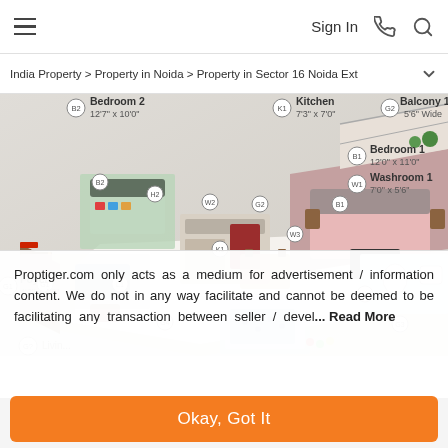≡   Sign In  📞  🔍
India Property > Property in Noida > Property in Sector 16 Noida Ext... ˅
[Figure (engineering-diagram): 3D floor plan showing: Bedroom 2 (12'7" x 10'0"), Kitchen (7'3" x 7'0"), Balcony 1 (5'6" Wide), Bedroom 1 (12'0" x 11'0"), Washroom 1 (7'0" x 5'6"), Foyer (4'2" x 4'8"), and other labeled rooms including G1, G3, G4, L1, W2, W3, H2, B1, B3 zones in an isometric 3D floor plan view.]
Proptiger.com only acts as a medium for advertisement / information content. We do not in any way facilitate and cannot be deemed to be facilitating any transaction between seller / devel... Read More
Okay, Got It